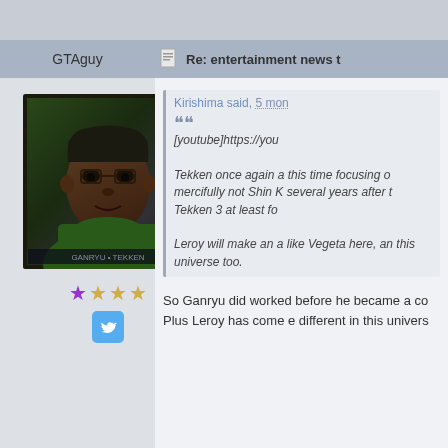GTAguy   Re: entertainment news t
[Figure (photo): Avatar image of a dark-skinned man in green clothing, styled as a game character portrait with dark border]
★ ☆☆☆
[Twitter icon]
Kirishima said, 5 mon
[youtube]https://you

Tekken once again a this time focusing o mercifully not Shin K several years after t Tekken 3 at least fo

Leroy will make an a like Vegeta here, an this universe too.
So Ganryu did worked before he became a co Plus Leroy has come e different in this univers